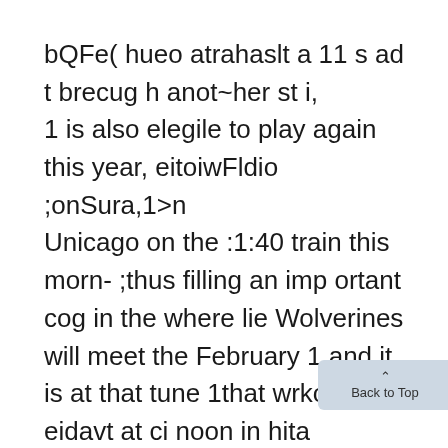bQFe( hueo atrahaslt a 11 s ad t brecug h anot~her st i,
1 is also elegile to play again this year, eitoiwFldio ;onSura,1>n
Unicago on the :1:40 train this morn- ;thus filling an imp ortant cog in the where lie Wolverines will meet the February 1 and it is at that tune 1that wrkout esi eidavt at ci noon in hita
Ing, arriving there at 3i:30 this after-! Maize and Blue lineup. If George Ilawkeyes Saturday night in the fourth' CouhtFarl-ell will definitely de(ide ; a ich for oxrnoe to ftk h h )1o(